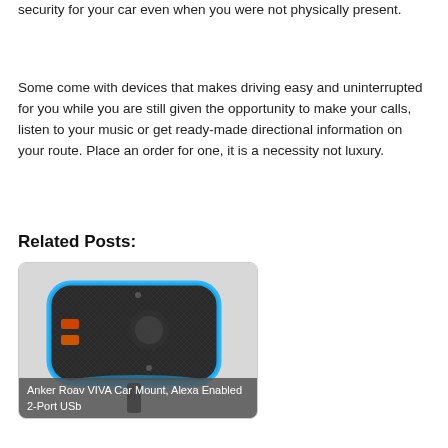security for your car even when you were not physically present.
Some come with devices that makes driving easy and uninterrupted for you while you are still given the opportunity to make your calls, listen to your music or get ready-made directional information on your route. Place an order for one, it is a necessity not luxury.
Related Posts:
[Figure (photo): Anker Roav VIVA Car Mount device with blue LED ring and Alexa branding, mounted on a car mount stem]
Anker Roav VIVA Car Mount, Alexa Enabled 2-Port USb